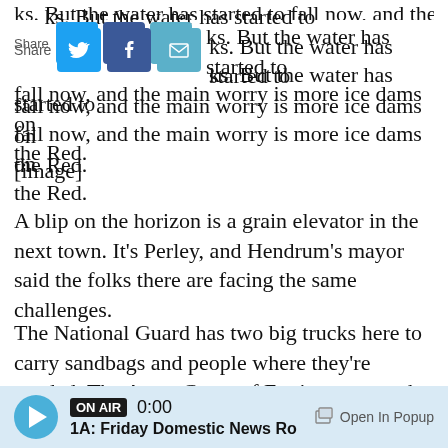ks. But the water has started to fall now, and the main worry is more ice dams on the Red.
[Figure (other): Social share bar with Twitter, Facebook, and email icons]
[Figure (other): [image] placeholder for an embedded photograph]
A blip on the horizon is a grain elevator in the next town. It's Perley, and Hendrum's mayor said the folks there are facing the same challenges.
The National Guard has two big trucks here to carry sandbags and people where they're needed. The Army Corps of Engineers stops by every few days, and there's a Homeland Security staffer who checks in. But basically, this town is taking care of itself and the farms around it.
ON AIR 0:00 1A: Friday Domestic News Ro  Open In Popup